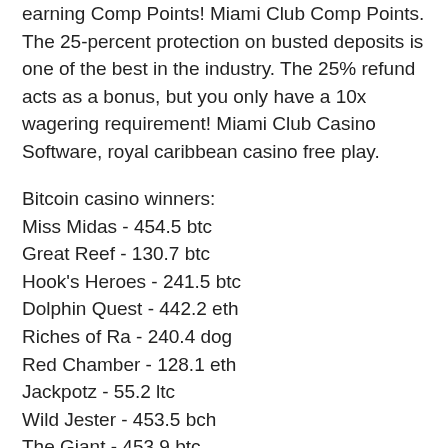earning Comp Points! Miami Club Comp Points. The 25-percent protection on busted deposits is one of the best in the industry. The 25% refund acts as a bonus, but you only have a 10x wagering requirement! Miami Club Casino Software, royal caribbean casino free play.
Bitcoin casino winners:
Miss Midas - 454.5 btc
Great Reef - 130.7 btc
Hook's Heroes - 241.5 btc
Dolphin Quest - 442.2 eth
Riches of Ra - 240.4 dog
Red Chamber - 128.1 eth
Jackpotz - 55.2 ltc
Wild Jester - 453.5 bch
The Giant - 453.9 btc
Tokyo Hunter - 371.9 bch
USSR Seventies - 382.4 eth
Belissimo - 529.6 bch